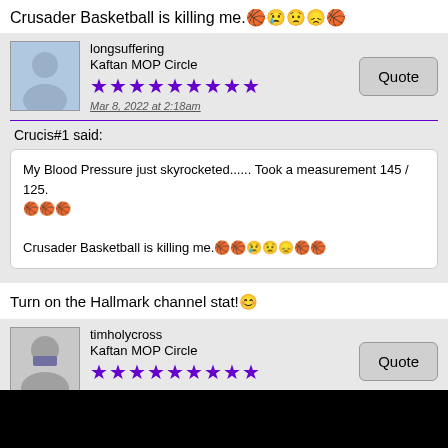Crusader Basketball is killing me.🏀😢😟😞🏀
longsuffering
Kaftan MOP Circle
★★★★★★★★★
Mar 8, 2022 at 2:18am
Crucis#1 said:
My Blood Pressure just skyrocketed...... Took a measurement 145 / 125.
🏀🏀🏀

Crusader Basketball is killing me.🏀🏀😢😟😞🏀🏀
Turn on the Hallmark channel stat!😊
timholycross
Kaftan MOP Circle
★★★★★★★★★